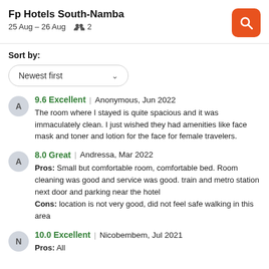Fp Hotels South-Namba
25 Aug – 26 Aug  2
Sort by:
Newest first
9.6 Excellent | Anonymous, Jun 2022
The room where I stayed is quite spacious and it was immaculately clean. I just wished they had amenities like face mask and toner and lotion for the face for female travelers.
8.0 Great | Andressa, Mar 2022
Pros: Small but comfortable room, comfortable bed. Room cleaning was good and service was good. train and metro station next door and parking near the hotel
Cons: location is not very good, did not feel safe walking in this area
10.0 Excellent | Nicobembem, Jul 2021
Pros: All